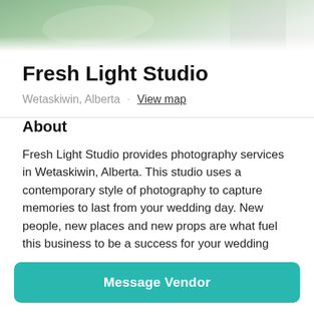[Figure (photo): Wedding photo banner showing couple outdoors on green lawn, partial view at top of page]
Fresh Light Studio
Wetaskiwin, Alberta · View map
About
Fresh Light Studio provides photography services in Wetaskiwin, Alberta. This studio uses a contemporary style of photography to capture memories to last from your wedding day. New people, new places and new props are what fuel this business to be a success for your wedding
Message Vendor